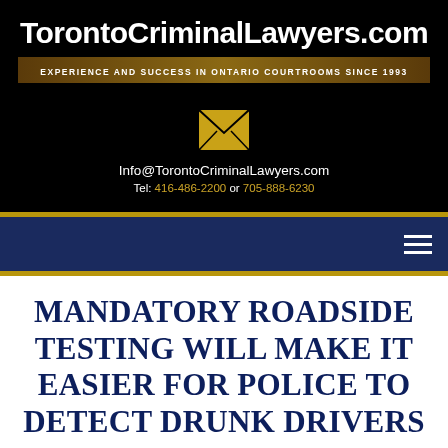TorontoCriminalLawyers.com
EXPERIENCE AND SUCCESS IN ONTARIO COURTROOMS SINCE 1993
[Figure (illustration): Gold envelope/email icon]
Info@TorontoCriminalLawyers.com
Tel: 416-486-2200 or 705-888-6230
MANDATORY ROADSIDE TESTING WILL MAKE IT EASIER FOR POLICE TO DETECT DRUNK DRIVERS